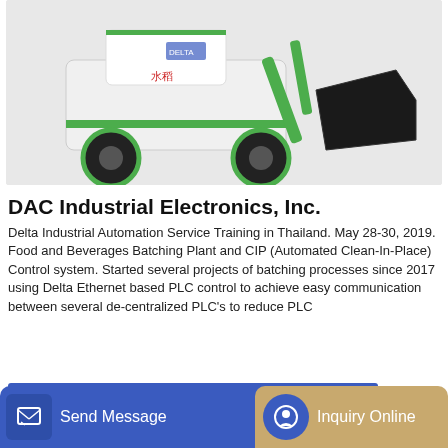[Figure (photo): Green and white industrial loader/excavator machine with a large black bucket/shovel attachment on the right, on a light gray background]
DAC Industrial Electronics, Inc.
Delta Industrial Automation Service Training in Thailand. May 28-30, 2019. Food and Beverages Batching Plant and CIP (Automated Clean-In-Place) Control system. Started several projects of batching processes since 2017 using Delta Ethernet based PLC control to achieve easy communication between several de-centralized PLC's to reduce PLC
[Figure (other): Blue button UI element labeled GET A QUOTE]
[Figure (photo): Partial view of vehicles or industrial equipment at bottom of page, orange and white colors visible]
[Figure (screenshot): Bottom navigation bar with Send Message button (blue) on left with document/pen icon, and Inquiry Online button (tan/gold) on right with headset icon]